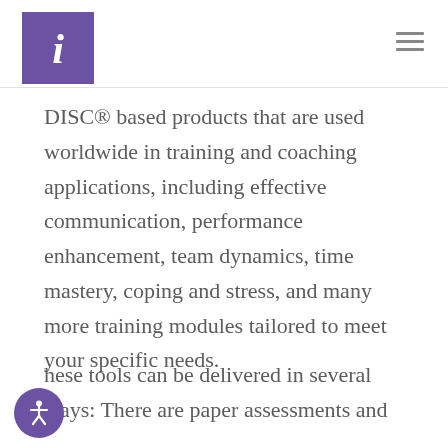i (logo)
DISC® based products that are used worldwide in training and coaching applications, including effective communication, performance enhancement, team dynamics, time mastery, coping and stress, and many more training modules tailored to meet your specific needs.
These tools can be delivered in several ways: There are paper assessments and